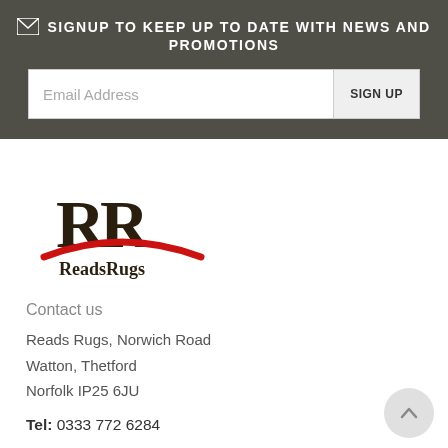SIGNUP TO KEEP UP TO DATE WITH NEWS AND PROMOTIONS
Email Address
SIGN UP
[Figure (logo): ReadsRugs logo with two stylized R letters and a red swoosh underneath, with text 'ReadsRugs']
Contact us
Reads Rugs, Norwich Road
Watton, Thetford
Norfolk IP25 6JU
Tel: 0333 772 6284